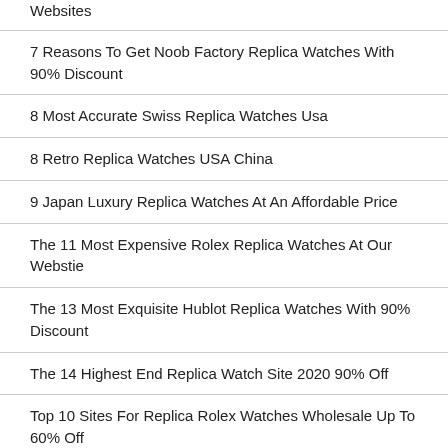Websites
7 Reasons To Get Noob Factory Replica Watches With 90% Discount
8 Most Accurate Swiss Replica Watches Usa
8 Retro Replica Watches USA China
9 Japan Luxury Replica Watches At An Affordable Price
The 11 Most Expensive Rolex Replica Watches At Our Webstie
The 13 Most Exquisite Hublot Replica Watches With 90% Discount
The 14 Highest End Replica Watch Site 2020 90% Off
Top 10 Sites For Replica Rolex Watches Wholesale Up To 60% Off